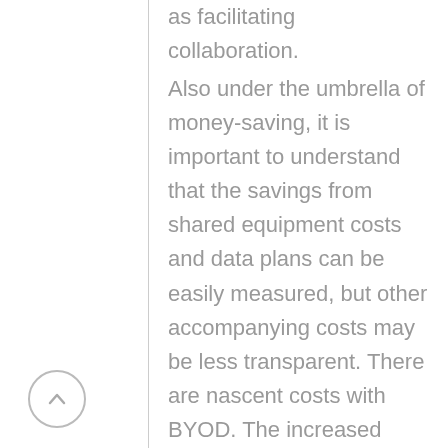as facilitating collaboration.
Also under the umbrella of money-saving, it is important to understand that the savings from shared equipment costs and data plans can be easily measured, but other accompanying costs may be less transparent. There are nascent costs with BYOD. The increased complexity of maintaining security and upgrading software on